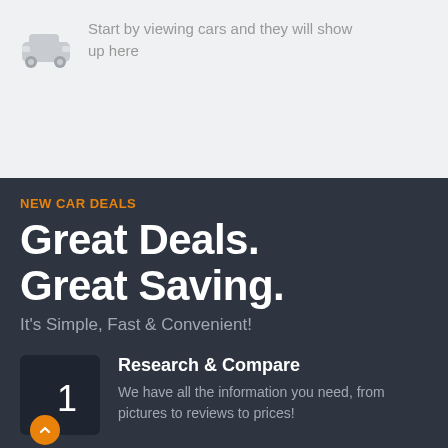Start by viewing cars and they will show up here
[Figure (illustration): Gray car icon silhouette]
NEW CAR DEALS
Great Deals. Great Saving.
It's Simple, Fast & Convenient!
Research & Compare
We have all the information you need, from pictures to reviews to prices!